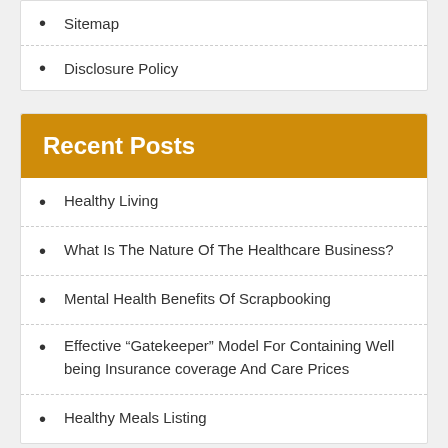Sitemap
Disclosure Policy
Recent Posts
Healthy Living
What Is The Nature Of The Healthcare Business?
Mental Health Benefits Of Scrapbooking
Effective “Gatekeeper” Model For Containing Well being Insurance coverage And Care Prices
Healthy Meals Listing